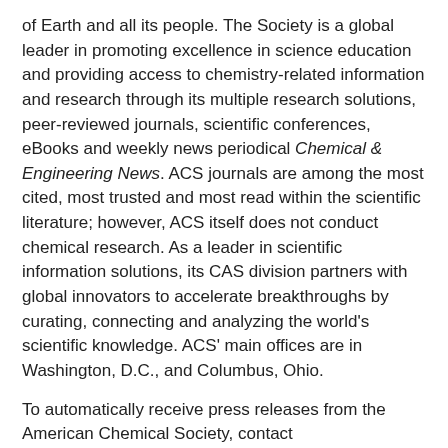of Earth and all its people. The Society is a global leader in promoting excellence in science education and providing access to chemistry-related information and research through its multiple research solutions, peer-reviewed journals, scientific conferences, eBooks and weekly news periodical Chemical & Engineering News. ACS journals are among the most cited, most trusted and most read within the scientific literature; however, ACS itself does not conduct chemical research. As a leader in scientific information solutions, its CAS division partners with global innovators to accelerate breakthroughs by curating, connecting and analyzing the world's scientific knowledge. ACS' main offices are in Washington, D.C., and Columbus, Ohio.
To automatically receive press releases from the American Chemical Society, contact newsroom@acs.org.
Note to journalists: Please report that this research was presented at a meeting of the American Chemical Society.
Follow us: Twitter | Facebook | LinkedIn | Instagram